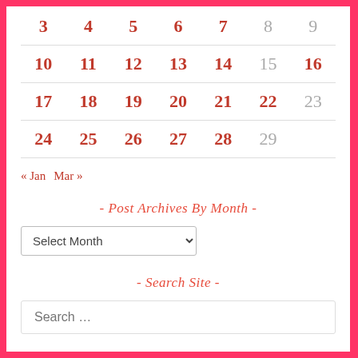| Sun | Mon | Tue | Wed | Thu | Fri | Sat |
| --- | --- | --- | --- | --- | --- | --- |
| 3 | 4 | 5 | 6 | 7 | 8 | 9 |
| 10 | 11 | 12 | 13 | 14 | 15 | 16 |
| 17 | 18 | 19 | 20 | 21 | 22 | 23 |
| 24 | 25 | 26 | 27 | 28 | 29 |  |
« Jan   Mar »
- Post Archives By Month -
Select Month (dropdown)
- Search Site -
Search …